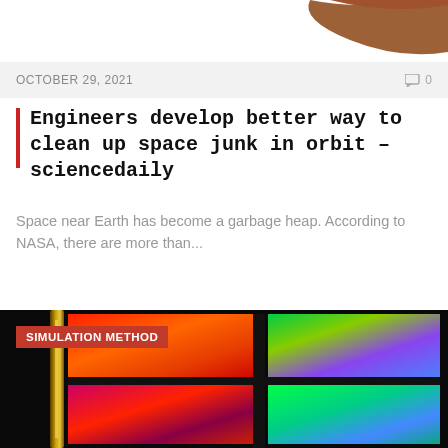[Figure (photo): Partial brown shape visible at top of page, cropped]
OCTOBER 29, 2021   💬 0
Engineers develop better way to clean up space junk in orbit – sciencedaily
Space near Earth has become a garbage heap. According to NASA, there are more than...
[Figure (photo): Colorful prism-like glass or optical element showing rainbow gradient colors (red, green, blue, purple) in a 2x2 grid pattern, photographed in dark setting. Badge reads SIMULATION METHOD.]